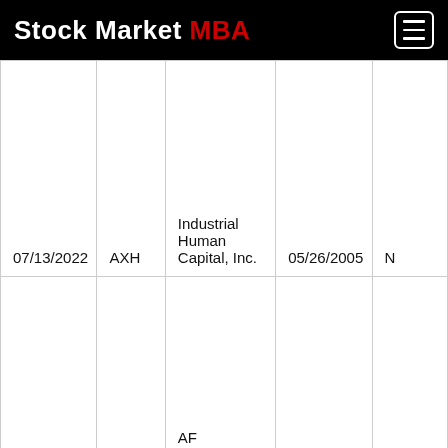Stock Market MBA
| Date | Ticker | Company | IPO Date |  |
| --- | --- | --- | --- | --- |
| 07/13/2022 | AXH | Industrial Human Capital, Inc. | 05/26/2005 | N |
| 07/13/2022 | AFAQ | AF Acquisition Corp. | 03/26/2008 | N |